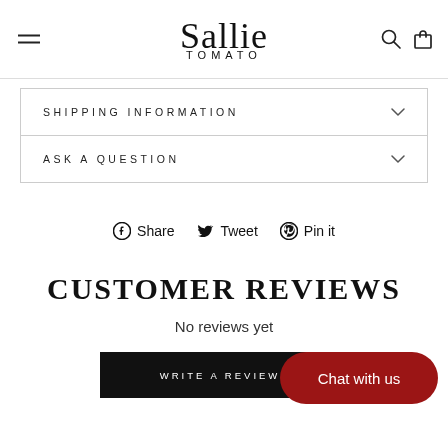Sallie Tomato
SHIPPING INFORMATION
ASK A QUESTION
Share  Tweet  Pin it
CUSTOMER REVIEWS
No reviews yet
WRITE A REVIEW
Chat with us